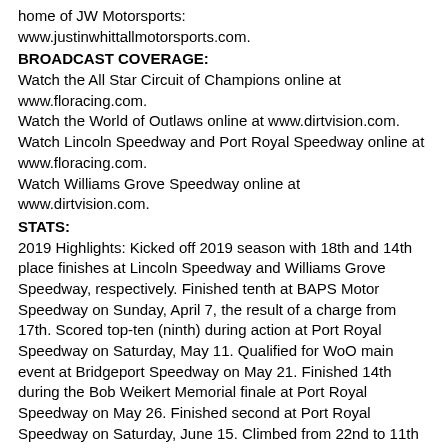home of JW Motorsports: www.justinwhittallmotorsports.com.
BROADCAST COVERAGE:
Watch the All Star Circuit of Champions online at www.floracing.com.
Watch the World of Outlaws online at www.dirtvision.com.
Watch Lincoln Speedway and Port Royal Speedway online at www.floracing.com.
Watch Williams Grove Speedway online at www.dirtvision.com.
STATS:
2019 Highlights: Kicked off 2019 season with 18th and 14th place finishes at Lincoln Speedway and Williams Grove Speedway, respectively. Finished tenth at BAPS Motor Speedway on Sunday, April 7, the result of a charge from 17th. Scored top-ten (ninth) during action at Port Royal Speedway on Saturday, May 11. Qualified for WoO main event at Bridgeport Speedway on May 21. Finished 14th during the Bob Weikert Memorial finale at Port Royal Speedway on May 26. Finished second at Port Royal Speedway on Saturday, June 15. Climbed from 22nd to 11th at Port Royal Speedway on June 22. Finished eighth at Port Royal Speedway on Saturday,